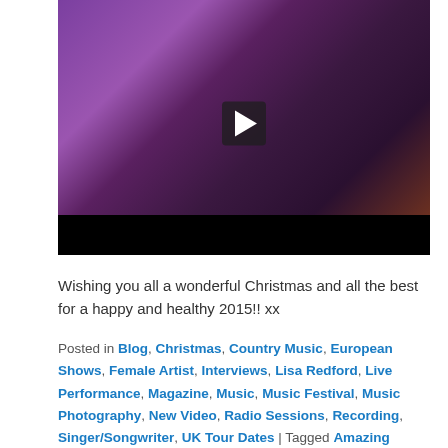[Figure (photo): A female singer/songwriter with long blonde hair performing on stage with an acoustic guitar in front of a purple-lit background and a microphone. A video play button overlay is visible in the center.]
Wishing you all a wonderful Christmas and all the best for a happy and healthy 2015!! xx
Posted in Blog, Christmas, Country Music, European Shows, Female Artist, Interviews, Lisa Redford, Live Performance, Magazine, Music, Music Festival, Music Photography, New Video, Radio Sessions, Recording, Singer/Songwriter, UK Tour Dates | Tagged Amazing Radio, BBC Radio, ...